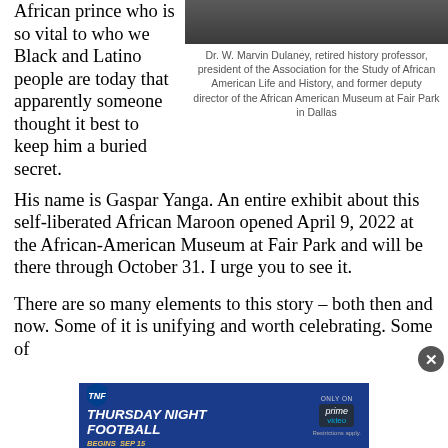African prince who is so vital to who we Black and Latino people are today that apparently someone thought it best to keep him a buried secret.
[Figure (photo): Photo of Dr. W. Marvin Dulaney at a podium or speaking engagement]
Dr. W. Marvin Dulaney, retired history professor, president of the Association for the Study of African American Life and History, and former deputy director of the African American Museum at Fair Park in Dallas
His name is Gaspar Yanga. An entire exhibit about this self-liberated African Maroon opened April 9, 2022 at the African-American Museum at Fair Park and will be there through October 31. I urge you to see it.
There are so many elements to this story – both then and now. Some of it is unifying and worth celebrating. Some of
[Figure (infographic): Advertisement banner: TNF Thursday Night Football - The New Era of Thursday Night Football Begins Sep 15, Only on Prime Video, Restrictions apply.]